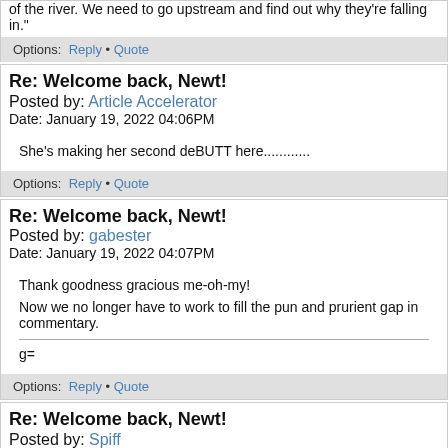of the river. We need to go upstream and find out why they're falling in."
Options: Reply • Quote
Re: Welcome back, Newt!
Posted by: Article Accelerator
Date: January 19, 2022 04:06PM
She's making her second deBUTT here............
Options: Reply • Quote
Re: Welcome back, Newt!
Posted by: gabester
Date: January 19, 2022 04:07PM
Thank goodness gracious me-oh-my!

Now we no longer have to work to fill the pun and prurient gap in commentary.

g=
Options: Reply • Quote
Re: Welcome back, Newt!
Posted by: Spiff
Date: January 19, 2022 04:10PM